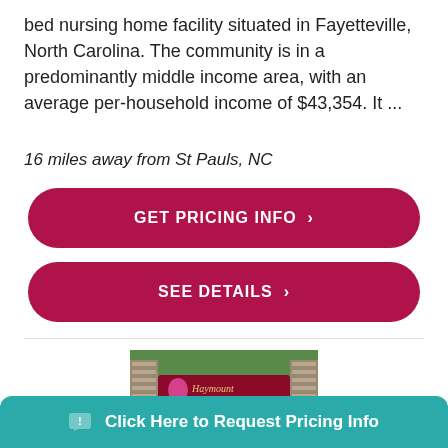bed nursing home facility situated in Fayetteville, North Carolina. The community is in a predominantly middle income area, with an average per-household income of $43,354. It ...
16 miles away from St Pauls, NC
GET PRICING INFO ›
SEE DETAILS ›
[Figure (photo): Entrance sign for Haymount Rehabilitation and Nursing Center with stone pillars and red flowers]
Click Here to Request Pricing Info